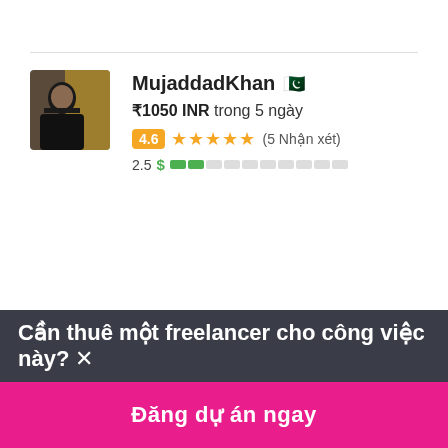[Figure (photo): Profile avatar photo of MujaddadKhan, dark clothing against golden background]
MujaddadKhan 🇵🇰
₹1050 INR trong 5 ngày
4.6 ★★★★★ (5 Nhận xét)
2.5 $ ■■□□□□□□□□
[Figure (photo): Profile avatar photo of amiraelnaggar243, woman in white hijab]
amiraelnaggar243 🇪🇬
Cần thuê một freelancer cho công việc này? ×
Đăng dự án ngay